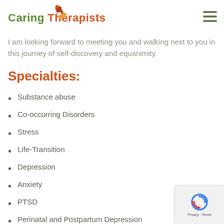co-occurring disorders, stress, life-transition, depression, anxiety, post-traumatic stress disorder, perinatal and postpartum depression.
Caring Therapists
I am looking forward to meeting you and walking next to you in this journey of self-discovery and equanimity.
Specialties:
Substance abuse
Co-occurring Disorders
Stress
Life-Transition
Depression
Anxiety
PTSD
Perinatal and Postpartum Depression